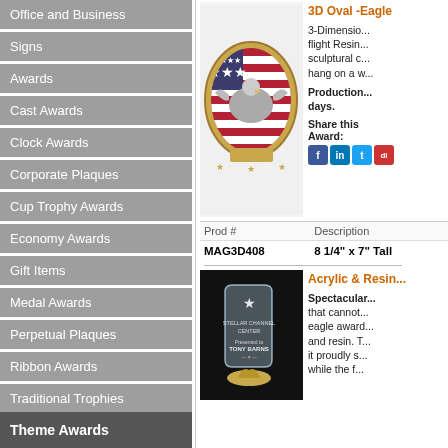Office and Business
Signs
Awards
Cast Awards
Clock Awards
Corporate Plaques
Cup Trophy Awards
Economy Awards
Gift Items
Medal Awards
Perpetual Plaques
Ribbon Awards
Traditional Trophies
Trophies | Resin
Wood Awards
Theme Awards
[Figure (photo): 3D oval eagle resin award with American flag background]
3D Oval -Eagle
3-Dimensional in-flight Resin sculptural can hang on a w...
Production... days.
Share this Award:
| Prod # | Description |
| --- | --- |
| MAG3D408 | 8 1/4" x 7" Tall |
[Figure (photo): Acrylic and resin eagle award trophy on dark background]
Acrylic & Resin...
Spectacular... that cannot... eagle award... and resin. T... it proudly s... while the f...